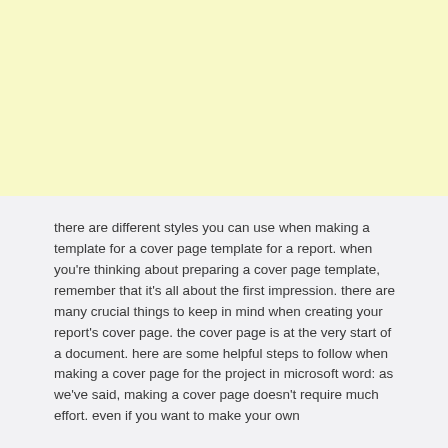[Figure (other): Light yellow rectangular block filling the top half of the page]
there are different styles you can use when making a template for a cover page template for a report. when you're thinking about preparing a cover page template, remember that it's all about the first impression. there are many crucial things to keep in mind when creating your report's cover page. the cover page is at the very start of a document. here are some helpful steps to follow when making a cover page for the project in microsoft word: as we've said, making a cover page doesn't require much effort. even if you want to make your own